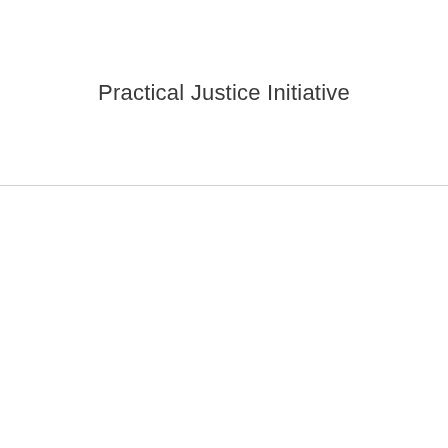Practical Justice Initiative
[Figure (other): Navigation bar with yellow accent strip and hamburger menu icon on dark background]